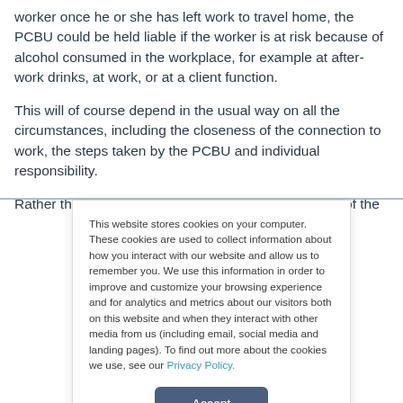worker once he or she has left work to travel home, the PCBU could be held liable if the worker is at risk because of alcohol consumed in the workplace, for example at after-work drinks, at work, or at a client function.
This will of course depend in the usual way on all the circumstances, including the closeness of the connection to work, the steps taken by the PCBU and individual responsibility.
Rather than focusing on whether the precise wording of the
This website stores cookies on your computer. These cookies are used to collect information about how you interact with our website and allow us to remember you. We use this information in order to improve and customize your browsing experience and for analytics and metrics about our visitors both on this website and when they interact with other media from us (including email, social media and landing pages). To find out more about the cookies we use, see our Privacy Policy.